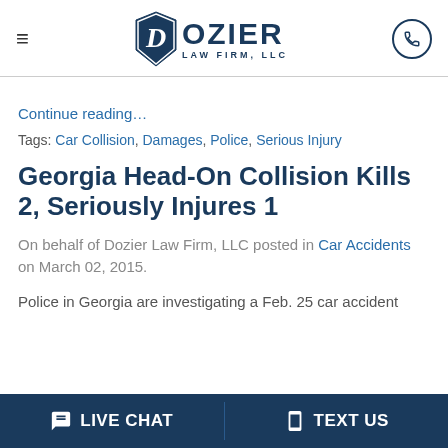Dozier Law Firm, LLC
Continue reading...
Tags: Car Collision, Damages, Police, Serious Injury
Georgia Head-On Collision Kills 2, Seriously Injures 1
On behalf of Dozier Law Firm, LLC posted in Car Accidents on March 02, 2015.
Police in Georgia are investigating a Feb. 25 car accident
LIVE CHAT   TEXT US